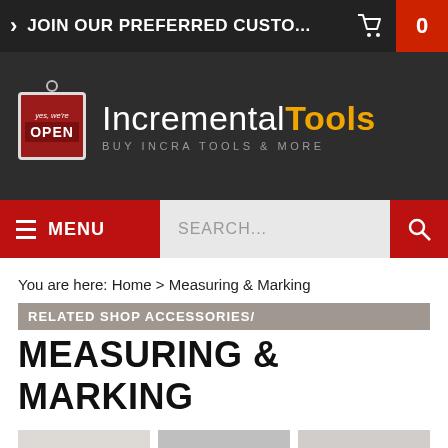JOIN OUR PREFERRED CUSTO... 0
[Figure (logo): Incremental Tools logo with 'yes, we're OPEN' sign and tagline 'BUY INCRA TOOLS & MORE']
MENU SEARCH...
You are here: Home > Measuring & Marking
RELATED SHOP ACCESSORIES/
MEASURING & MARKING
Precision Rules
Layout Tools, Squares & Angles
Setup Tools